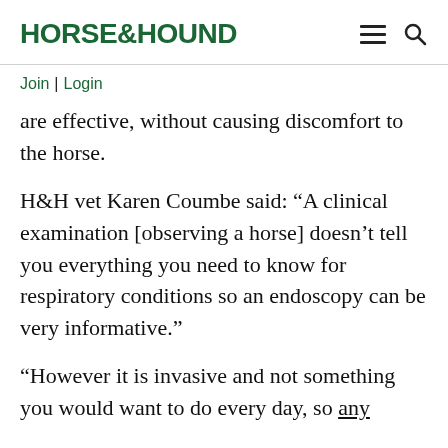HORSE&HOUND
Join | Login
are effective, without causing discomfort to the horse.
H&H vet Karen Coumbe said: “A clinical examination [observing a horse] doesn’t tell you everything you need to know for respiratory conditions so an endoscopy can be very informative.”
“However it is invasive and not something you would want to do every day, so any research